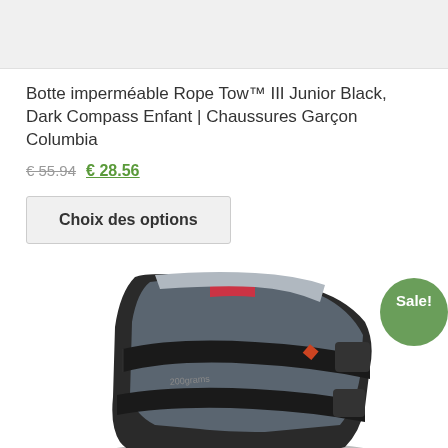[Figure (photo): Top portion of a product listing page showing a light gray product image placeholder area at the top]
Botte imperméable Rope Tow™ III Junior Black, Dark Compass Enfant | Chaussures Garçon Columbia
€ 55.94  € 28.56
Choix des options
[Figure (photo): Photo of a Columbia children's black waterproof boot (Rope Tow III) with velcro straps, gray and red accents, showing '200grams' text on the side and Columbia logo. A green 'Sale!' badge is overlaid in the top right corner.]